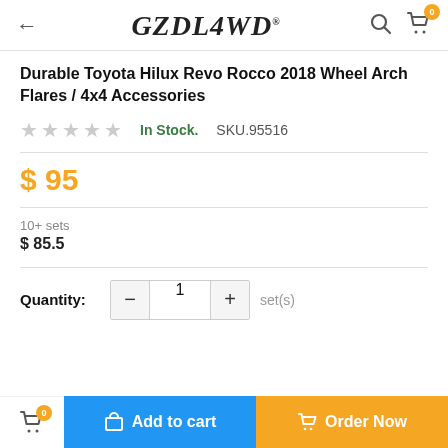GZDL4WD
Durable Toyota Hilux Revo Rocco 2018 Wheel Arch Flares / 4x4 Accessories
In Stock.  SKU.95516
$ 95
10+ sets
$ 85.5
Quantity: 1 set(s)
Add to cart  Order Now